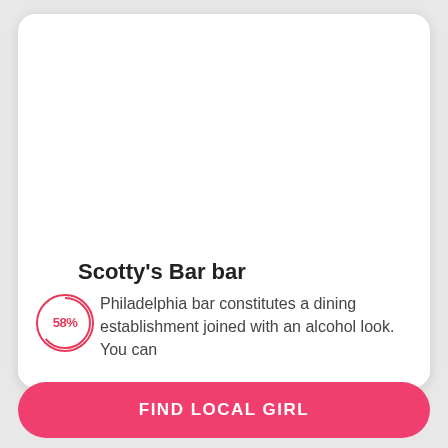[Figure (photo): White card area representing a venue photo placeholder (blank white area at top of card)]
Scotty's Bar bar
58% Philadelphia bar constitutes a dining establishment joined with an alcohol look. You can
FIND LOCAL GIRL